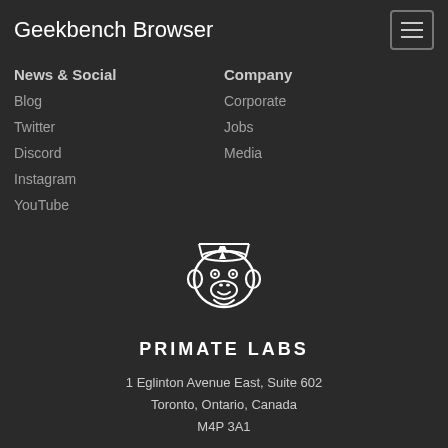Geekbench Browser
News & Social
Company
Blog
Corporate
Twitter
Jobs
Discord
Media
Instagram
YouTube
[Figure (logo): Primate Labs monkey face logo in white]
PRIMATE LABS
1 Eglinton Avenue East, Suite 602
Toronto, Ontario, Canada
M4P 3A1